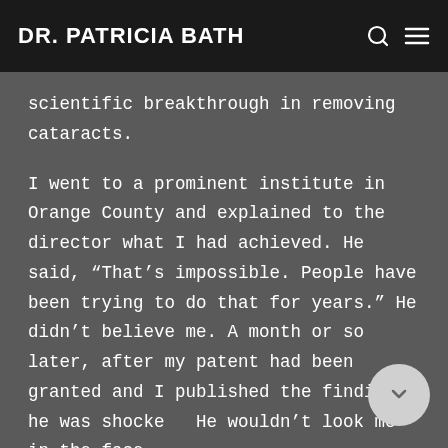DR. PATRICIA BATH
scientific breakthrough in removing cataracts.
I went to a prominent institute in Orange County and explained to the director what I had achieved. He said, “That’s impossible. People have been trying to do that for years.” He didn’t believe me. A month or so later, after my patent had been granted and I published the findings, he was shocked. He wouldn’t look me in the face.